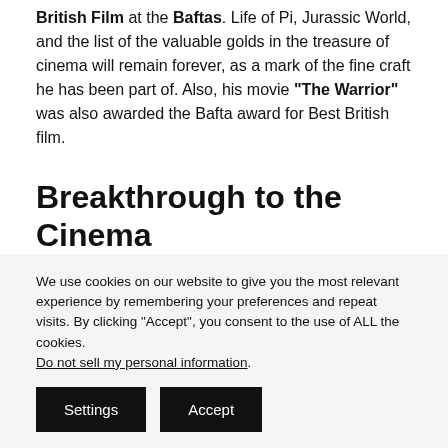British Film at the Baftas. Life of Pi, Jurassic World, and the list of the valuable golds in the treasure of cinema will remain forever, as a mark of the fine craft he has been part of. Also, his movie "The Warrior" was also awarded the Bafta award for Best British film.
Breakthrough to the Cinema
Coming onto his life, SahabzadeIrrfan Ali Khan (his full
We use cookies on our website to give you the most relevant experience by remembering your preferences and repeat visits. By clicking "Accept", you consent to the use of ALL the cookies.
Do not sell my personal information.